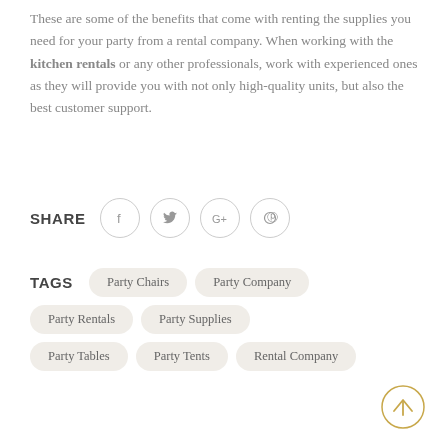These are some of the benefits that come with renting the supplies you need for your party from a rental company. When working with the kitchen rentals or any other professionals, work with experienced ones as they will provide you with not only high-quality units, but also the best customer support.
SHARE [social icons: Facebook, Twitter, Google+, Pinterest]
TAGS: Party Chairs, Party Company, Party Rentals, Party Supplies, Party Tables, Party Tents, Rental Company